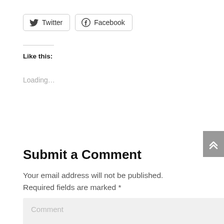[Figure (other): Twitter and Facebook social share buttons with icons]
Like this:
Loading…
Submit a Comment
Your email address will not be published. Required fields are marked *
Comment